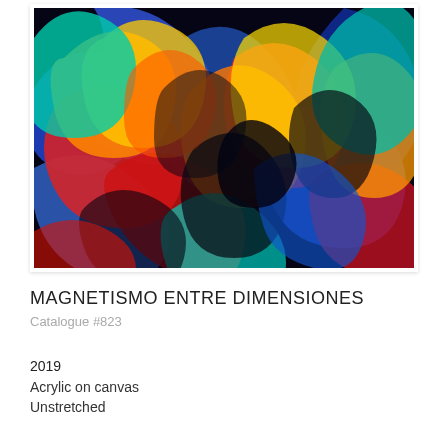[Figure (illustration): Abstract acrylic painting with swirling patterns of blue, red, orange, yellow, green, and black colors, resembling fluid or molten forms in a dynamic, colorful composition.]
MAGNETISMO ENTRE DIMENSIONES
Catalogue #823
2019
Acrylic on canvas
Unstretched